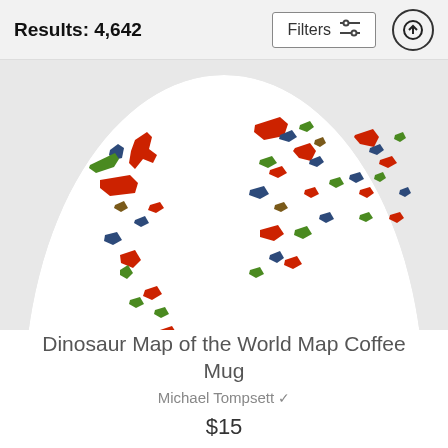Results: 4,642
[Figure (screenshot): A white ceramic coffee mug featuring colorful dinosaur silhouettes arranged in the shape of a world map. Dinosaurs in red, green, dark blue/navy, brown, and orange colors fill the continents' outlines against the white mug surface.]
Dinosaur Map of the World Map Coffee Mug
Michael Tompsett
$15